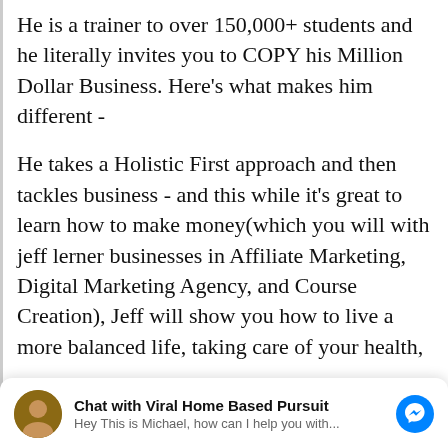He is a trainer to over 150,000+ students and he literally invites you to COPY his Million Dollar Business. Here's what makes him different -
He takes a Holistic First approach and then tackles business - and this while it's great to learn how to make money(which you will with jeff lerner businesses in Affiliate Marketing, Digital Marketing Agency, and Course Creation), Jeff will show you how to live a more balanced life, taking care of your health,
[Figure (screenshot): Facebook Messenger chat widget showing avatar of Michael, bold title 'Chat with Viral Home Based Pursuit', subtitle 'Hey This is Michael, how can I help you with...', and blue Messenger icon on right]